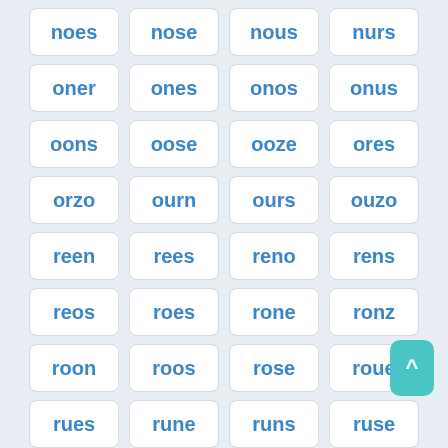noes, nose, nous, nurs
oner, ones, onos, onus
oons, oose, ooze, ores
orzo, ourn, ours, ouzo
reen, rees, reno, rens
reos, roes, rone, ronz
roon, roos, rose, roue
rues, rune, runs, ruse
(partial row)